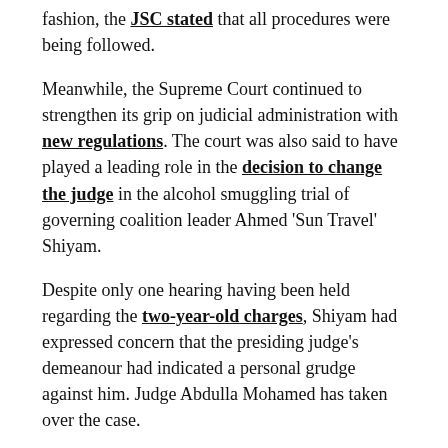fashion, the JSC stated that all procedures were being followed.
Meanwhile, the Supreme Court continued to strengthen its grip on judicial administration with new regulations. The court was also said to have played a leading role in the decision to change the judge in the alcohol smuggling trial of governing coalition leader Ahmed 'Sun Travel' Shiyam.
Despite only one hearing having been held regarding the two-year-old charges, Shiyam had expressed concern that the presiding judge's demeanour had indicated a personal grudge against him. Judge Abdulla Mohamed has taken over the case.
The Family Court was said to have ejected two representatives of the Anti-Corruption Commission